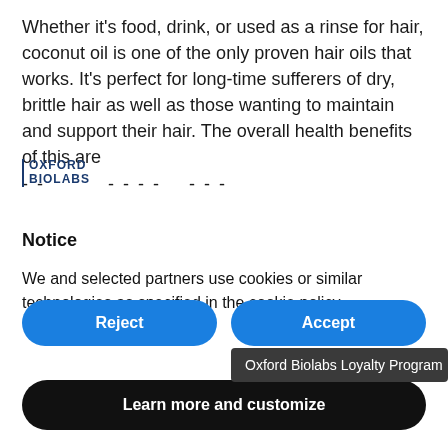Whether it's food, drink, or used as a rinse for hair, coconut oil is one of the only proven hair oils that works. It's perfect for long-time sufferers of dry, brittle hair as well as those wanting to maintain and support their hair. The overall health benefits of this are
[Figure (logo): Oxford Biolabs logo: vertical blue left border, text OXFORD BIOLABS in blue bold letters stacked two lines]
Notice
We and selected partners use cookies or similar technologies as specified in the cookie policy.
Reject
Accept
Oxford Biolabs Loyalty Program
Learn more and customize